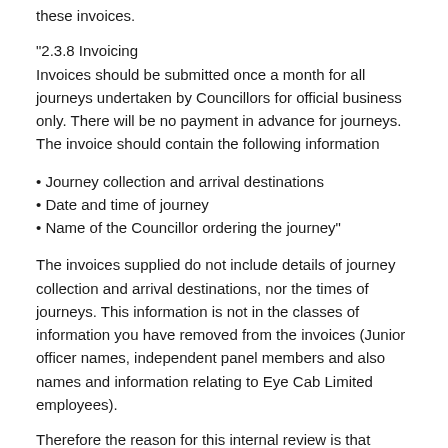these invoices.
"2.3.8 Invoicing
Invoices should be submitted once a month for all journeys undertaken by Councillors for official business only. There will be no payment in advance for journeys. The invoice should contain the following information
Journey collection and arrival destinations
Date and time of journey
Name of the Councillor ordering the journey"
The invoices supplied do not include details of journey collection and arrival destinations, nor the times of journeys. This information is not in the classes of information you have removed from the invoices (Junior officer names, independent panel members and also names and information relating to Eye Cab Limited employees).
Therefore the reason for this internal review is that